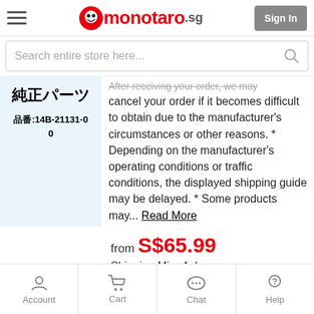monotaro.sg
Search entire store here...
[Figure (screenshot): Product image placeholder with Japanese text showing 純正パーツ (genuine parts) and product ID 品番:14B-21131-00 on a light blue background]
cancel your order if it becomes difficult to obtain due to the manufacturer's circumstances or other reasons. * Depending on the manufacturer's operating conditions or traffic conditions, the displayed shipping guide may be delayed. * Some products may... Read More
from S$65.99
Shipping Min. 4 days
See All Products
Account   Cart   Chat   Help